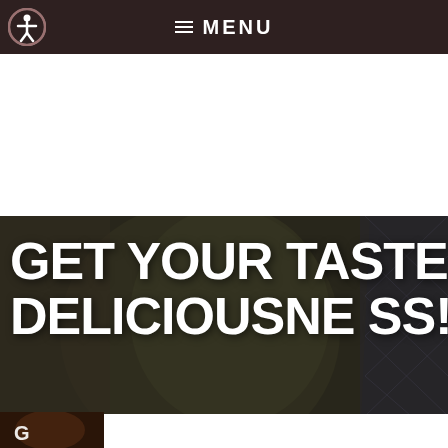≡ MENU
[Figure (screenshot): Website screenshot showing navigation bar with accessibility icon and MENU label, white space, and hero banner image with food/drink bottles overlaid with large white bold text reading GET YOUR TASTE OF DELICIOUSNESS! with a partial popup overlay at bottom showing reCAPTCHA widget and close button]
GET YOUR TASTE OF DELICIOUSNESS!